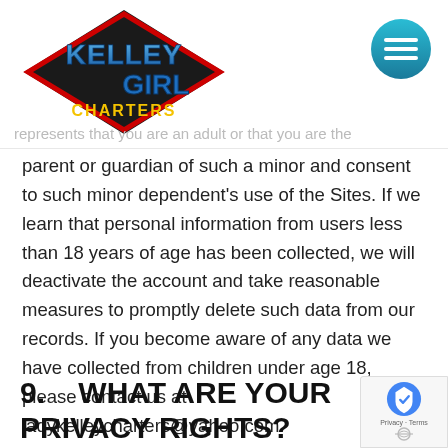[Figure (logo): Kelley Girl Charters logo — diamond shape with stylized text on black/red background]
[Figure (other): Teal circular menu/hamburger button icon in top right]
represents that you are an adult or that you are the parent or guardian of such a minor and consent to such minor dependent's use of the Sites. If we learn that personal information from users less than 18 years of age has been collected, we will deactivate the account and take reasonable measures to promptly delete such data from our records. If you become aware of any data we have collected from children under age 18, please contact us at ladykelleycharters@yahoo.com.
9.    WHAT ARE YOUR PRIVACY RIGHTS?
[Figure (other): reCAPTCHA badge with shield icon and Privacy - Terms links]